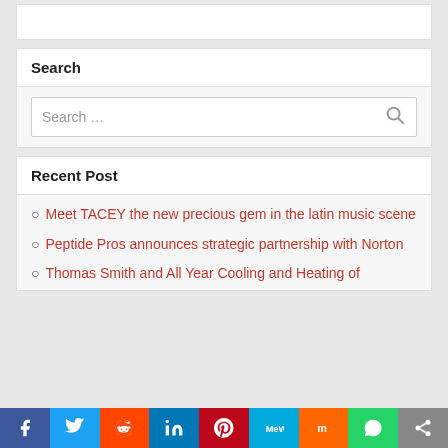Search
Search …
Recent Post
Meet TACEY the new precious gem in the latin music scene
Peptide Pros announces strategic partnership with Norton
Thomas Smith and All Year Cooling and Heating of